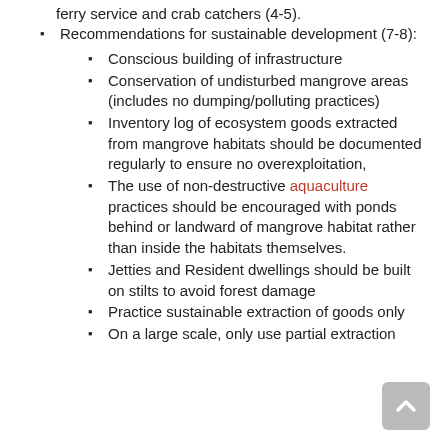ferry service and crab catchers (4-5).
Recommendations for sustainable development (7-8):
Conscious building of infrastructure
Conservation of undisturbed mangrove areas (includes no dumping/polluting practices)
Inventory log of ecosystem goods extracted from mangrove habitats should be documented regularly to ensure no overexploitation,
The use of non-destructive aquaculture practices should be encouraged with ponds behind or landward of mangrove habitat rather than inside the habitats themselves.
Jetties and Resident dwellings should be built on stilts to avoid forest damage
Practice sustainable extraction of goods only
On a large scale, only use partial extraction